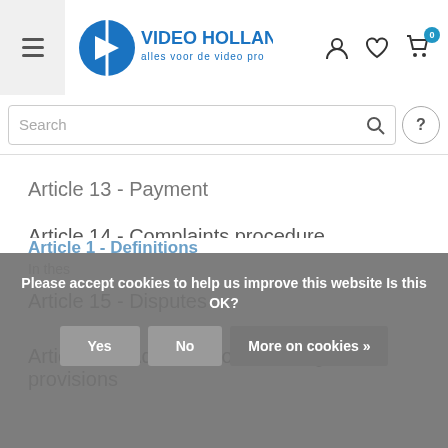Video Holland - alles voor de video pro
Search
Article 13 - Payment
Article 14 - Complaints procedure
Article 15 - Disputes
Article 16 - Additional or deviating provisions
Article 1 - Definitions
In these
Please accept cookies to help us improve this website Is this OK?